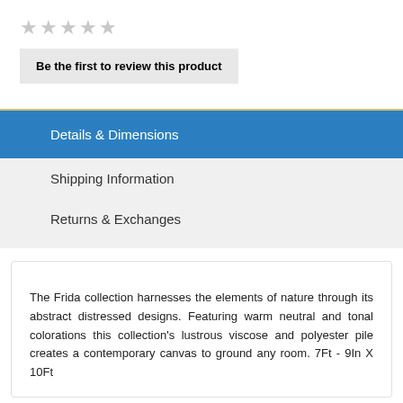[Figure (other): Five empty grey star rating icons]
Be the first to review this product
Details & Dimensions
Shipping Information
Returns & Exchanges
The Frida collection harnesses the elements of nature through its abstract distressed designs. Featuring warm neutral and tonal colorations this collection's lustrous viscose and polyester pile creates a contemporary canvas to ground any room. 7Ft - 9In X 10Ft